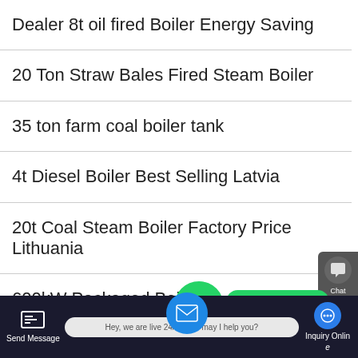Dealer 8t oil fired Boiler Energy Saving
20 Ton Straw Bales Fired Steam Boiler
35 ton farm coal boiler tank
4t Diesel Boiler Best Selling Latvia
20t Coal Steam Boiler Factory Price Lithuania
600kW Packaged Boiler
Geepas Boiler Price
pulver coal fire bo…
Send Message   Hey, we are live 24/7. How may I help you?   Inquiry Online